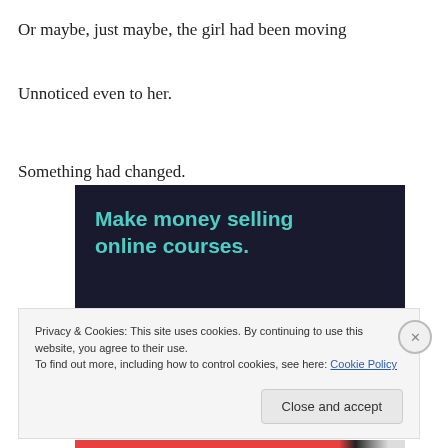Or maybe, just maybe, the girl had been moving
Unnoticed even to her.
Something had changed.
[Figure (screenshot): Dark-background advertisement with teal text reading 'Make money selling online courses.']
Privacy & Cookies: This site uses cookies. By continuing to use this website, you agree to their use.
To find out more, including how to control cookies, see here: Cookie Policy
Close and accept